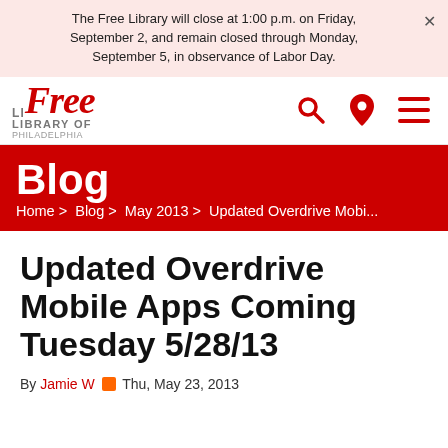The Free Library will close at 1:00 p.m. on Friday, September 2, and remain closed through Monday, September 5, in observance of Labor Day.
[Figure (logo): Free Library of Philadelphia logo with red cursive 'Free' text and gray 'Library of Philadelphia' text]
Blog
Home > Blog > May 2013 > Updated Overdrive Mobi...
Updated Overdrive Mobile Apps Coming Tuesday 5/28/13
By Jamie W  Thu, May 23, 2013